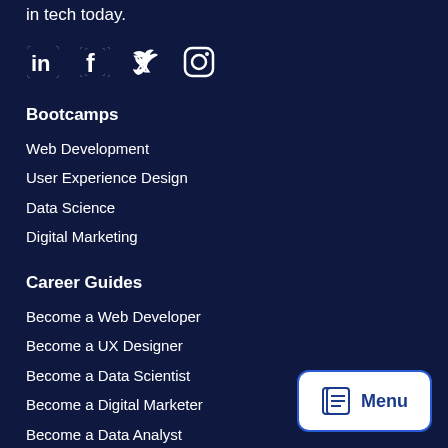in tech today.
[Figure (illustration): Social media icons: LinkedIn, Facebook, Twitter, Instagram]
Bootcamps
Web Development
User Experience Design
Data Science
Digital Marketing
Career Guides
Become a Web Developer
Become a UX Designer
Become a Data Scientist
Become a Digital Marketer
Become a Data Analyst
View All >
[Figure (other): Menu button with book icon and text 'Menu']